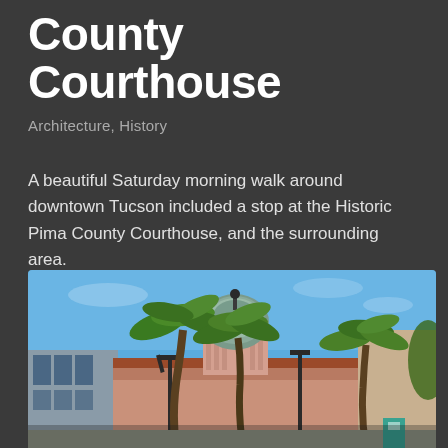County Courthouse
Architecture, History
A beautiful Saturday morning walk around downtown Tucson included a stop at the Historic Pima County Courthouse, and the surrounding area.
Completed in 1930 the courthouse is a mix of Mission Revival and Spanish Colonial architecture.
[Figure (photo): Photograph of the Historic Pima County Courthouse in Tucson, showing a domed building with Mission Revival and Spanish Colonial architecture, surrounded by tall palm trees under a blue sky.]